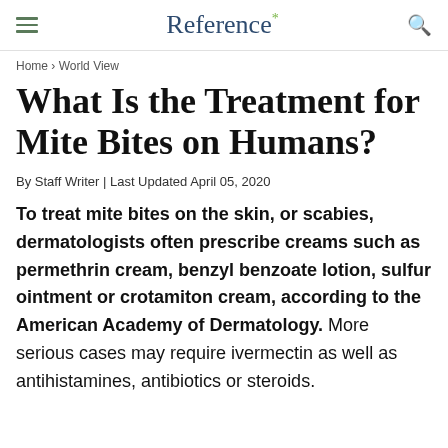Reference*
Home › World View
What Is the Treatment for Mite Bites on Humans?
By Staff Writer | Last Updated April 05, 2020
To treat mite bites on the skin, or scabies, dermatologists often prescribe creams such as permethrin cream, benzyl benzoate lotion, sulfur ointment or crotamiton cream, according to the American Academy of Dermatology. More serious cases may require ivermectin as well as antihistamines, antibiotics or steroids.